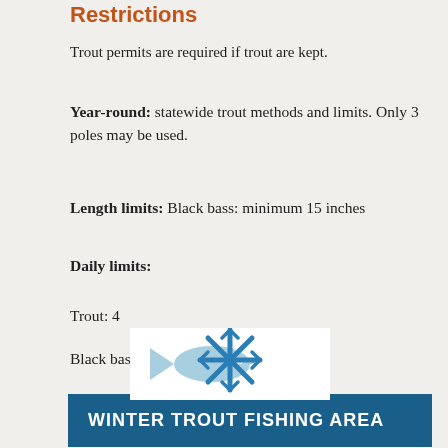Restrictions
Trout permits are required if trout are kept.
Year-round: statewide trout methods and limits. Only 3 poles may be used.
Length limits: Black bass: minimum 15 inches
Daily limits:
Trout: 4
Black bass: 2
WINTER TROUT FISHING AREA
[Figure (illustration): Snowflake and fish icon representing winter trout fishing]
Fishing is permitted year-round during normal park or area hours. Unless indicated in the area rules, trout may be taken by